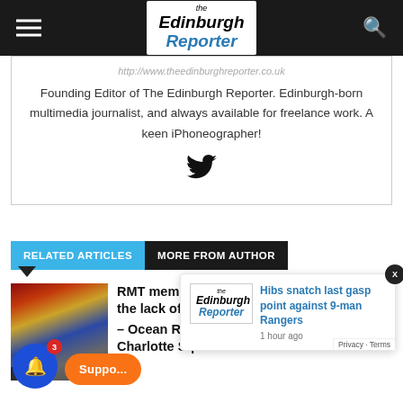The Edinburgh Reporter
http://www.theedinburghreporter.co.uk
Founding Editor of The Edinburgh Reporter. Edinburgh-born multimedia journalist, and always available for freelance work. A keen iPhoneographer!
RELATED ARTICLES   MORE FROM AUTHOR
[Figure (screenshot): RMT members protest article thumbnail with News badge]
RMT members protest in Edinburgh over the lack of movement on COP26
– Ocean Rebellion wash U Charlotte Square
[Figure (screenshot): Edinburgh Reporter popup notification: Hibs snatch last gasp point against 9-man Rangers, 1 hour ago]